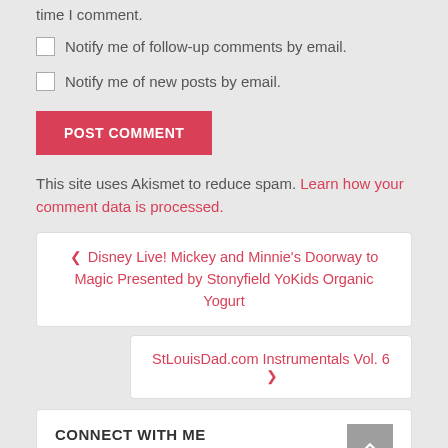time I comment.
Notify me of follow-up comments by email.
Notify me of new posts by email.
POST COMMENT
This site uses Akismet to reduce spam. Learn how your comment data is processed.
❮ Disney Live! Mickey and Minnie's Doorway to Magic Presented by Stonyfield YoKids Organic Yogurt
StLouisDad.com Instrumentals Vol. 6 ❯
CONNECT WITH ME